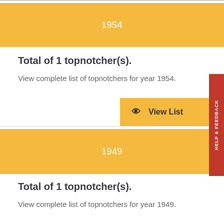1954
Total of 1 topnotcher(s).
View complete list of topnotchers for year 1954.
View List
1949
Total of 1 topnotcher(s).
View complete list of topnotchers for year 1949.